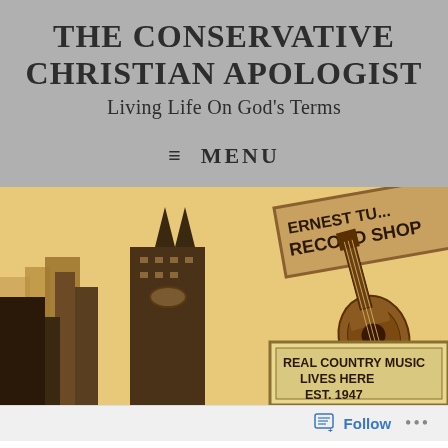THE CONSERVATIVE CHRISTIAN APOLOGIST
Living Life On God's Terms
≡ MENU
[Figure (photo): Sepia-toned photo of Nashville cityscape showing AT&T Building (Batman Building) on the left and Ernest Tubb Record Shop sign on the right with guitar decoration and marquee reading 'REAL COUNTRY MUSIC LIVES HERE EST. 1947']
Follow ...